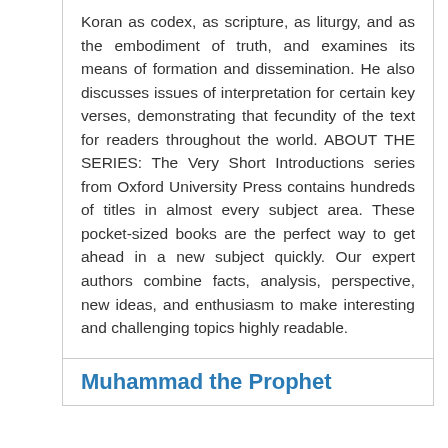Koran as codex, as scripture, as liturgy, and as the embodiment of truth, and examines its means of formation and dissemination. He also discusses issues of interpretation for certain key verses, demonstrating that fecundity of the text for readers throughout the world. ABOUT THE SERIES: The Very Short Introductions series from Oxford University Press contains hundreds of titles in almost every subject area. These pocket-sized books are the perfect way to get ahead in a new subject quickly. Our expert authors combine facts, analysis, perspective, new ideas, and enthusiasm to make interesting and challenging topics highly readable.
Muhammad the Prophet